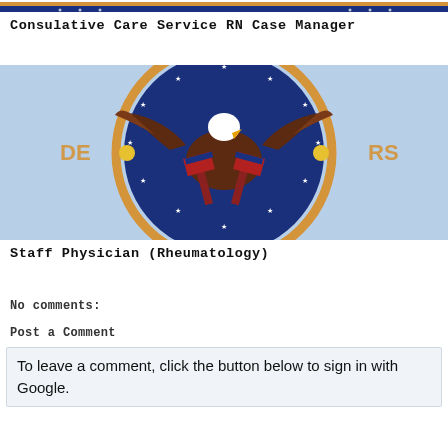[Figure (photo): Partial view of US Department of Veterans Affairs seal (top portion), showing eagle and flags on blue background with gold border rope]
Consulative Care Service RN Case Manager
[Figure (photo): US Department of Veterans Affairs seal showing bald eagle with American flags on light blue background with gold rope border and yellow dots]
Staff Physician (Rheumatology)
No comments:
Post a Comment
To leave a comment, click the button below to sign in with Google.